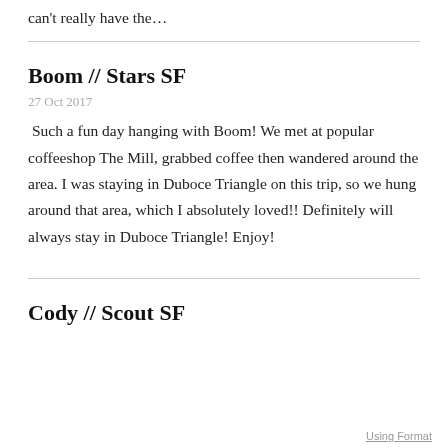can't really have the…
Boom // Stars SF
27 Oct 2017
Such a fun day hanging with Boom! We met at popular coffeeshop The Mill, grabbed coffee then wandered around the area. I was staying in Duboce Triangle on this trip, so we hung around that area, which I absolutely loved!! Definitely will always stay in Duboce Triangle! Enjoy!
Cody // Scout SF
Using Format